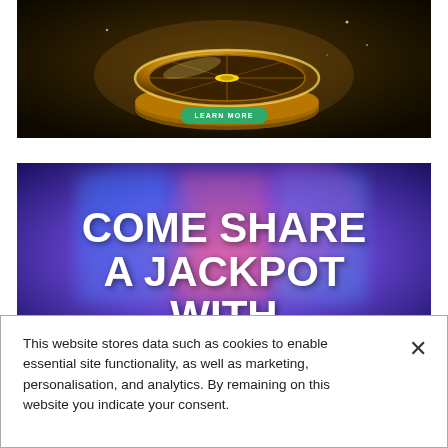[Figure (illustration): Casino roulette wheel rendered in gold on a dark brown background with a green 'LEARN MORE' button at the bottom center]
[Figure (illustration): Blurred colorful casino slot machine background with large bold white text reading 'COME SHARE A JACKPOT WITH']
This website stores data such as cookies to enable essential site functionality, as well as marketing, personalisation, and analytics. By remaining on this website you indicate your consent.